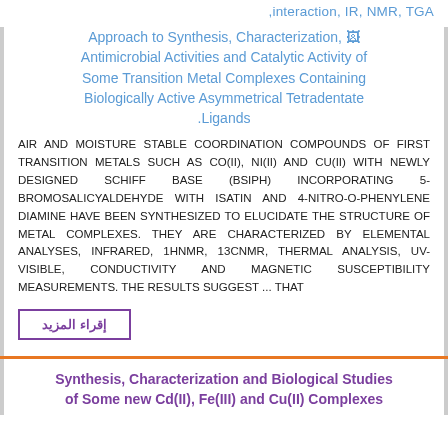,interaction, IR, NMR, TGA
Approach to Synthesis, Characterization, Antimicrobial Activities and Catalytic Activity of Some Transition Metal Complexes Containing Biologically Active Asymmetrical Tetradentate Ligands.
AIR AND MOISTURE STABLE COORDINATION COMPOUNDS OF FIRST TRANSITION METALS SUCH AS CO(II), NI(II) AND CU(II) WITH NEWLY DESIGNED SCHIFF BASE (BSIPH) INCORPORATING 5-BROMOSALICYALDEHYDE WITH ISATIN AND 4-NITRO-O-PHENYLENE DIAMINE HAVE BEEN SYNTHESIZED TO ELUCIDATE THE STRUCTURE OF METAL COMPLEXES. THEY ARE CHARACTERIZED BY ELEMENTAL ANALYSES, INFRARED, 1HNMR, 13CNMR, THERMAL ANALYSIS, UV-VISIBLE, CONDUCTIVITY AND MAGNETIC SUSCEPTIBILITY MEASUREMENTS. THE RESULTS SUGGEST ... THAT
إقراء المزيد
Synthesis, Characterization and Biological Studies of Some new Cd(II), Fe(III) and Cu(II) Complexes